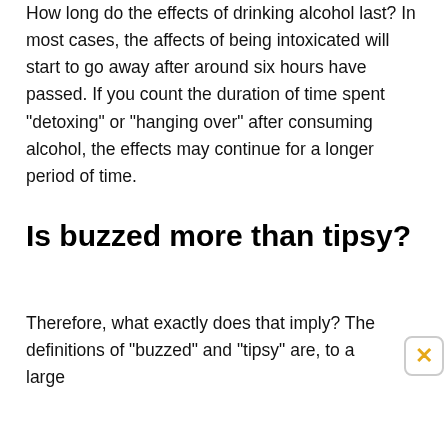How long do the effects of drinking alcohol last? In most cases, the affects of being intoxicated will start to go away after around six hours have passed. If you count the duration of time spent "detoxing" or "hanging over" after consuming alcohol, the effects may continue for a longer period of time.
Is buzzed more than tipsy?
Therefore, what exactly does that imply? The definitions of "buzzed" and "tipsy" are, to a large extent interchangeable with one another. For most...